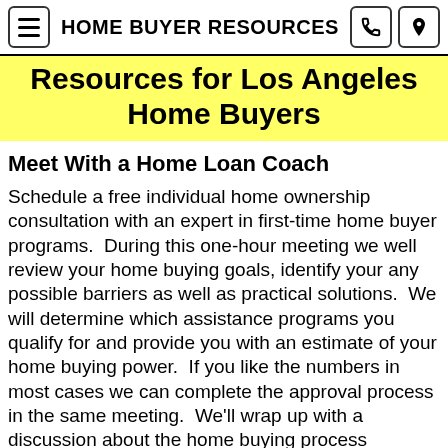HOME BUYER RESOURCES
Resources for Los Angeles Home Buyers
Meet With a Home Loan Coach
Schedule a free individual home ownership consultation with an expert in first-time home buyer programs.  During this one-hour meeting we well review your home buying goals, identify your any possible barriers as well as practical solutions.  We will determine which assistance programs you qualify for and provide you with an estimate of your home buying power.  If you like the numbers in most cases we can complete the approval process in the same meeting.  We'll wrap up with a discussion about the home buying process including how to choose a great real estate agent to help you find a home that makes